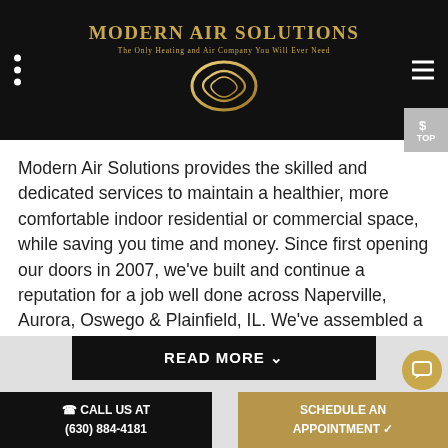[Figure (logo): Modern Air Solutions logo with gold circular swirl graphic and gold text 'MODERN AIR SOLUTIONS' with subtitle 'The Only Heating and Air Company You Will Ever Need' on black background]
Modern Air Solutions provides the skilled and dedicated services to maintain a healthier, more comfortable indoor residential or commercial space, while saving you time and money. Since first opening our doors in 2007, we've built and continue a reputation for a job well done across Naperville, Aurora, Oswego & Plainfield, IL. We've assembled a team of licensed, NATE-certified, and factory trained specialists, equipped with the leading-edge tools and technology, to quickly and accurately resolve any challenge.
READ MORE ˅
☎ CALL US AT
(630) 884-4181
SCHEDULE AN APPOINTMENT ✔